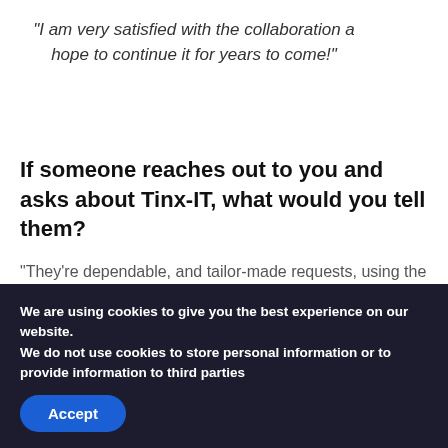“I am very satisfied with the collaboration and hope to continue it for years to come!”
If someone reaches out to you and asks about Tinx-IT, what would you tell them?
“They’re dependable, and tailor-made requests, using the input of multiple colleagues, are possible. What I also appreciated a lot was having a dedicated consultant of Tinx help us out during the duration of the project. Even
We are using cookies to give you the best experience on our website.
We do not use cookies to store personal information or to provide information to third parties
Accept